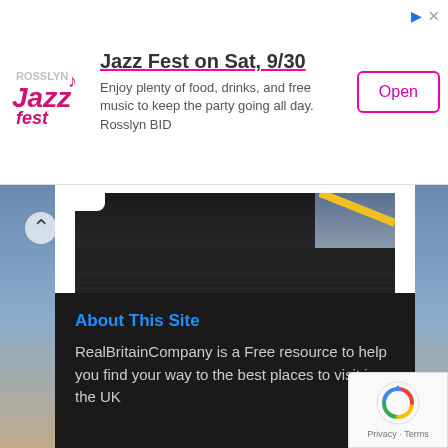[Figure (screenshot): Rosslyn Jazz Fest advertisement banner with logo, title, body text, and Open button]
[Figure (photo): Dark road surface with yellow line visible in top right corner]
A Brief History of the Northern Line
About This Site
RealBritainCompany is a Free resource to help you find your way to the best places to visit in the UK